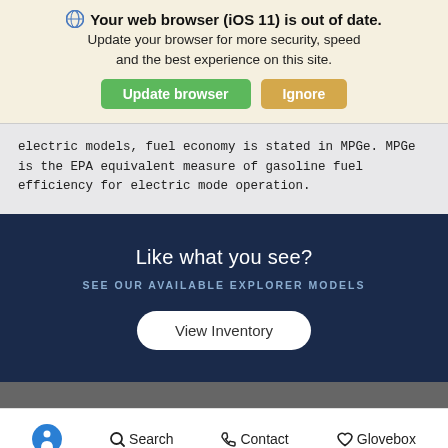Your web browser (iOS 11) is out of date. Update your browser for more security, speed and the best experience on this site.
electric models, fuel economy is stated in MPGe. MPGe is the EPA equivalent measure of gasoline fuel efficiency for electric mode operation.
Like what you see?
SEE OUR AVAILABLE EXPLORER MODELS
View Inventory
Search  Contact  Glovebox